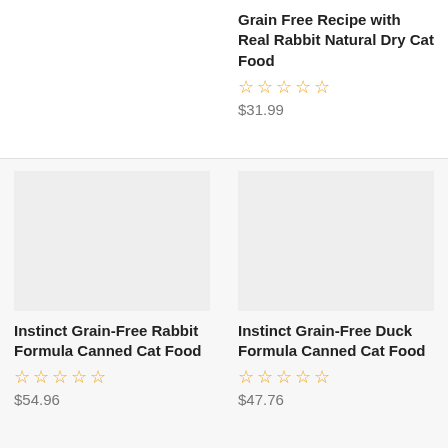Grain Free Recipe with Real Rabbit Natural Dry Cat Food
☆☆☆☆☆
$31.99
[Figure (photo): Product image placeholder for Instinct Grain-Free Rabbit Formula Canned Cat Food]
Instinct Grain-Free Rabbit Formula Canned Cat Food
☆☆☆☆☆
$54.96
[Figure (photo): Product image placeholder for Instinct Grain-Free Duck Formula Canned Cat Food]
Instinct Grain-Free Duck Formula Canned Cat Food
☆☆☆☆☆
$47.76